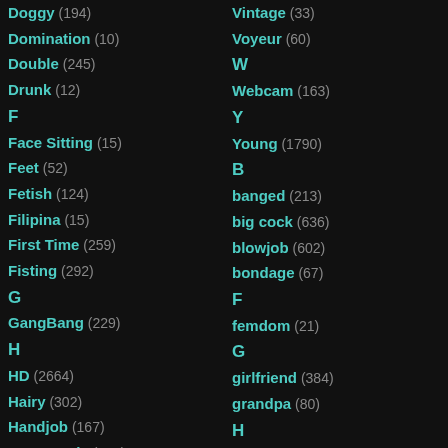Doggy (194)
Domination (10)
Double (245)
Drunk (12)
F
Face Sitting (15)
Feet (52)
Fetish (124)
Filipina (15)
First Time (259)
Fisting (292)
G
GangBang (229)
H
HD (2664)
Hairy (302)
Handjob (167)
Homemade (101)
Vintage (33)
Voyeur (60)
W
Webcam (163)
Y
Young (1790)
B
banged (213)
big cock (636)
blowjob (602)
bondage (67)
F
femdom (21)
G
girlfriend (384)
grandpa (80)
H